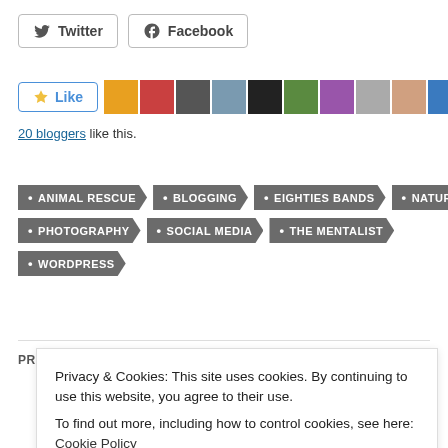Twitter
Facebook
Like
20 bloggers like this.
ANIMAL RESCUE
BLOGGING
EIGHTIES BANDS
NATURE
PHOTOGRAPHY
SOCIAL MEDIA
THE MENTALIST
WORDPRESS
PREVIOUS POST
Privacy & Cookies: This site uses cookies. By continuing to use this website, you agree to their use.
To find out more, including how to control cookies, see here: Cookie Policy
Close and accept